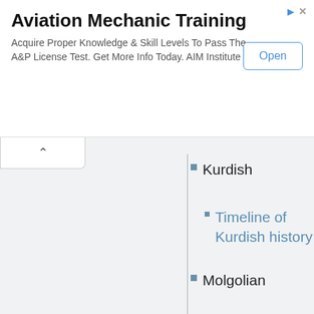[Figure (screenshot): Advertisement banner for Aviation Mechanic Training with Open button]
Aviation Mechanic Training
Acquire Proper Knowledge & Skill Levels To Pass The A&P License Test. Get More Info Today. AIM Institute
Kurdish
Timeline of Kurdish history
Molgolian
Timeline of modern Mongolian history
New